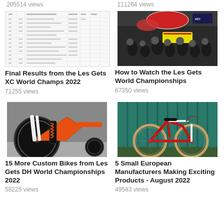205514 views
111264 views
[Figure (table-as-image): Thumbnail of a results table for Les Gets XC World Champs 2022]
Final Results from the Les Gets XC World Champs 2022
71255 views
[Figure (photo): Crowd photo at Les Gets World Championships event with umbrellas and banners]
How to Watch the Les Gets World Championships
67350 views
[Figure (photo): Close-up of an orange and white downhill mountain bike rear suspension and wheel]
15 More Custom Bikes from Les Gets DH World Championships 2022
58225 views
[Figure (photo): Red and white mountain bike leaning against a teal/blue fence]
5 Small European Manufacturers Making Exciting Products - August 2022
49583 views